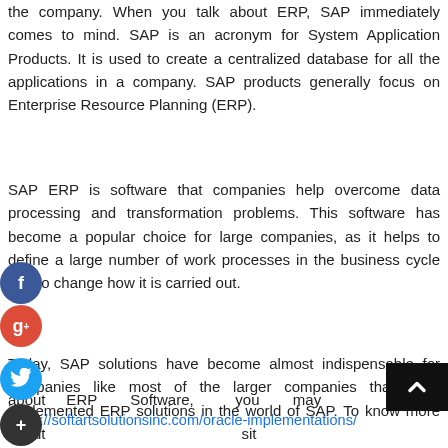the company. When you talk about ERP, SAP immediately comes to mind. SAP is an acronym for System Application Products. It is used to create a centralized database for all the applications in a company. SAP products generally focus on Enterprise Resource Planning (ERP).
SAP ERP is software that companies help overcome data processing and transformation problems. This software has become a popular choice for large companies, as it helps to define a large number of work processes in the business cycle and to change how it is carried out.
Today, SAP solutions have become almost indispensable for companies like most of the larger companies that have implemented ERP solutions in the world of SAP. To know more about ERP Software, you may visit https://softartsolutionsinc.com/oracle-implementations/